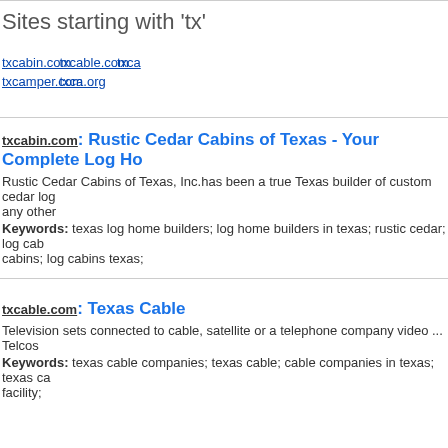Sites starting with 'tx'
txcabin.com
txcamper.com
txcable.com
txca.org
txca...
txcabin.com: Rustic Cedar Cabins of Texas - Your Complete Log Ho...
Rustic Cedar Cabins of Texas, Inc.has been a true Texas builder of custom cedar log... any other
Keywords: texas log home builders; log home builders in texas; rustic cedar; log cab... cabins; log cabins texas;
txcable.com: Texas Cable
Television sets connected to cable, satellite or a telephone company video ... Telcos
Keywords: texas cable companies; texas cable; cable companies in texas; texas ca... facility;